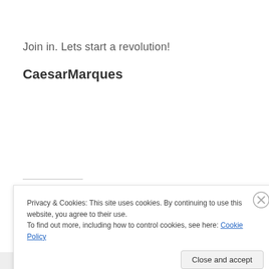Join in. Lets start a revolution!
CaesarMarques
Privacy & Cookies: This site uses cookies. By continuing to use this website, you agree to their use.
To find out more, including how to control cookies, see here: Cookie Policy
Close and accept